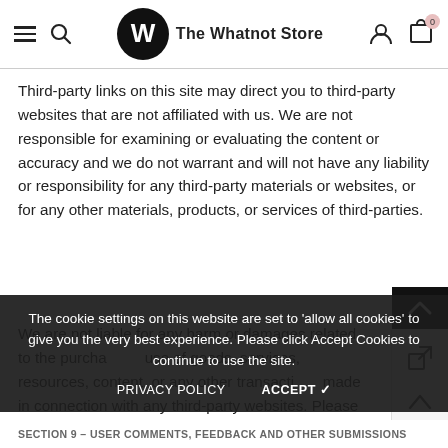The Whatnot Store
Third-party links on this site may direct you to third-party websites that are not affiliated with us. We are not responsible for examining or evaluating the content or accuracy and we do not warrant and will not have any liability or responsibility for any third-party materials or websites, or for any other materials, products, or services of third-parties.
We are not liable for any harm or damages related to the purchase or use of goods, services, resources, content, or any other transactions made in connection with any third-party websites. Please review carefully the third-party's policies and practices and make sure you understand them before you engage in any transaction. Complaints, claims, concerns, or questions regarding third-party products should be directed to the third-party.
The cookie settings on this website are set to 'allow all cookies' to give you the very best experience. Please click Accept Cookies to continue to use the site.
SECTION 9 – USER COMMENTS, FEEDBACK AND OTHER SUBMISSIONS